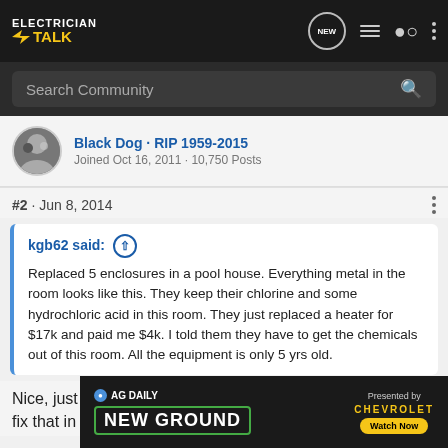[Figure (screenshot): Electrician Talk forum website navigation bar with logo, search, new button, list icon, user icon, and menu dots]
Black Dog · RIP 1959-2015
Joined Oct 16, 2011 · 10,750 Posts
#2 · Jun 8, 2014
kgb62 said: ↑
Replaced 5 enclosures in a pool house. Everything metal in the room looks like this. They keep their chlorine and some hydrochloric acid in this room. They just replaced a heater for $17k and paid me $4k. I told them they have to get the chemicals out of this room. All the equipment is only 5 yrs old.
Nice, just 5 years hopefully they will ignore you and you can fix that in five years laughing:
[Figure (screenshot): AG Daily New Ground advertisement banner presented by Chevrolet with Watch Now button]